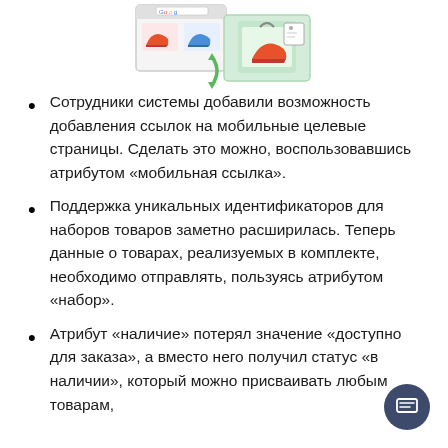[Figure (illustration): Two browser/app windows with shoe product images, connected by a green refresh/sync arrow, illustrating product feed linking functionality.]
Сотрудники системы добавили возможность добавления ссылок на мобильные целевые страницы. Сделать это можно, воспользовавшись атрибутом «мобильная ссылка».
Поддержка уникальных идентификаторов для наборов товаров заметно расширилась. Теперь данные о товарах, реализуемых в комплекте, необходимо отправлять, пользуясь атрибутом «набор».
Атрибут «наличие» потерял значение «доступно для заказа», а вместо него получил статус «в наличии», который можно присваивать любым товарам,